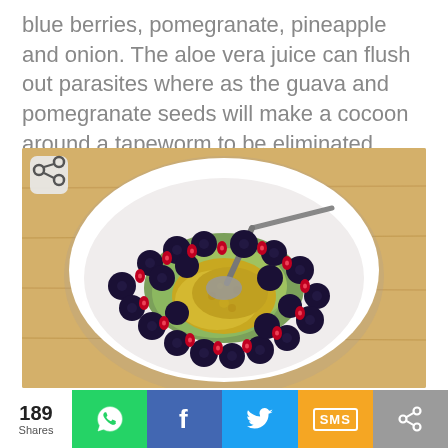blue berries, pomegranate, pineapple and onion. The aloe vera juice can flush out parasites where as the guava and pomegranate seeds will make a cocoon around a tapeworm to be eliminated easily.
[Figure (photo): A white bowl filled with blueberries, pomegranate seeds, and green fruit/guava mixture with a spoon, photographed from above on a wooden surface. A share icon button is visible in the top-left corner of the image.]
189 Shares | WhatsApp | Facebook | Twitter | SMS | Share